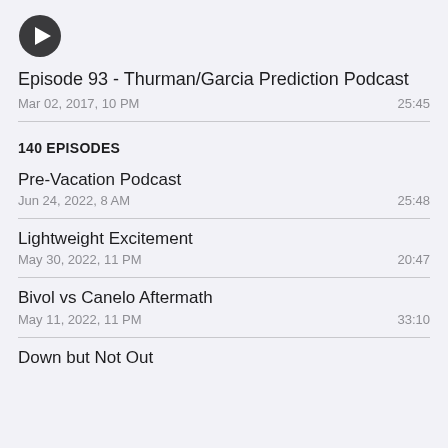[Figure (other): Play button icon - dark circular play triangle]
Episode 93 - Thurman/Garcia Prediction Podcast
Mar 02, 2017, 10 PM   25:45
140 EPISODES
Pre-Vacation Podcast
Jun 24, 2022, 8 AM   25:48
Lightweight Excitement
May 30, 2022, 11 PM   20:47
Bivol vs Canelo Aftermath
May 11, 2022, 11 PM   33:10
Down but Not Out